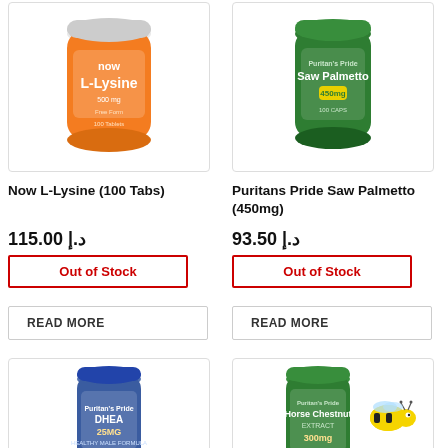[Figure (photo): NOW L-Lysine supplement bottle, orange label, 100 tablets]
[Figure (photo): Puritan's Pride Saw Palmetto 450mg supplement, green bottle]
Now L-Lysine (100 Tabs)
Puritans Pride Saw Palmetto (450mg)
115.00 د.إ
93.50 د.إ
Out of Stock
Out of Stock
READ MORE
READ MORE
[Figure (photo): Puritan's Pride DHEA 25mg supplement, blue bottle]
[Figure (photo): Horse Chestnut Extract supplement bottle with bee illustration]